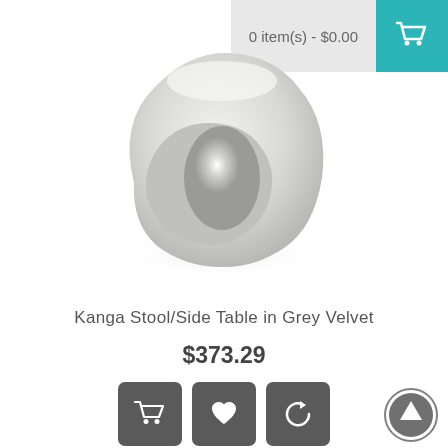0 item(s) - $0.00
[Figure (photo): 3D render of a white/grey rounded stool or side table with a circular hole through the middle, called the Kanga Stool, shown in Grey Velvet finish]
Kanga Stool/Side Table in Grey Velvet
$373.29
[Figure (other): Three action buttons: add to cart (shopping cart icon), add to wishlist (heart icon), and compare (refresh/compare icon)]
[Figure (other): Scroll to top button - circular arrow up icon]